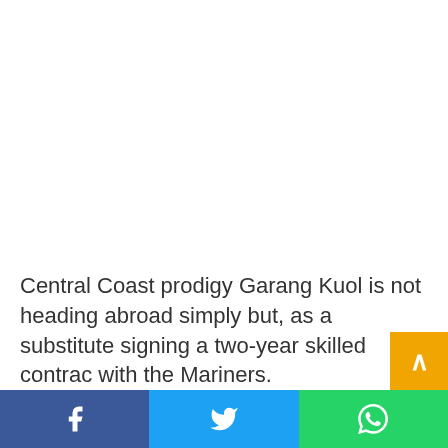Central Coast prodigy Garang Kuol is not heading abroad simply but, as a substitute signing a two-year skilled contract with the Mariners.